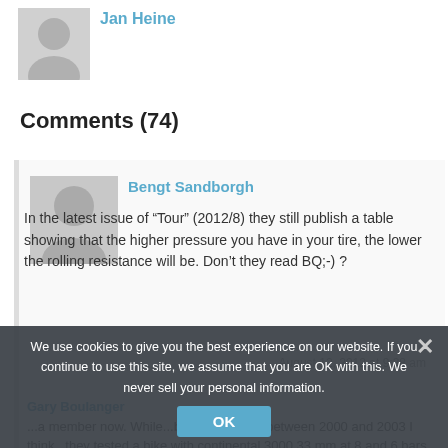[Figure (illustration): Gray placeholder avatar icon for a user at the top of the page]
Comments (74)
[Figure (illustration): Gray placeholder avatar icon for commenter Bengt Sandborgh]
Bengt Sandborgh
In the latest issue of “Tour” (2012/8) they still publish a table showing that the higher pressure you have in your tire, the lower the rolling resistance will be. Don’t they read BQ;-) ?
August 12, 2012 at 9:38 am
We use cookies to give you the best experience on our website. If you continue to use this site, we assume that you are OK with this. We never sell your personal information.